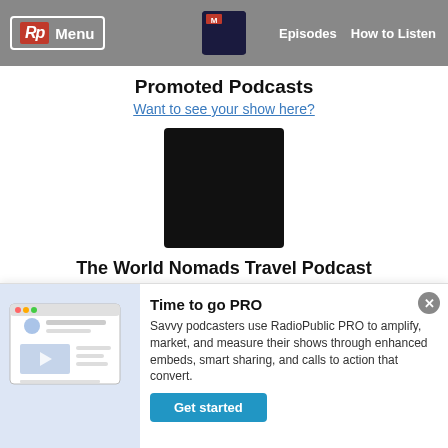Rp Menu | Episodes | How to Listen
Promoted Podcasts
Want to see your show here?
[Figure (illustration): Black square podcast cover art thumbnail]
The World Nomads Travel Podcast
Explore your boundaries and discover your next adventure with World Nomads, the global travel brand and insurance
Time to go PRO
Savvy podcasters use RadioPublic PRO to amplify, market, and measure their shows through enhanced embeds, smart sharing, and calls to action that convert.
Get started